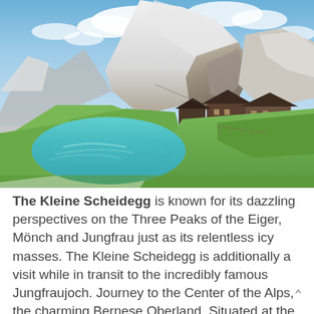[Figure (photo): Alpine landscape photo showing a turquoise mountain lake in the foreground, traditional Swiss chalets/buildings in the middle ground, and snow-capped peaks including the Eiger rising dramatically in the background under a partly cloudy blue sky. Green grassy slopes surround the lake.]
The Kleine Scheidegg is known for its dazzling perspectives on the Three Peaks of the Eiger, Mönch and Jungfrau just as its relentless icy masses. The Kleine Scheidegg is additionally a visit while in transit to the incredibly famous Jungfraujoch. Journey to the Center of the Alps, the charming Bernese Oberland. Situated at the foot of the most great snow capped mountain